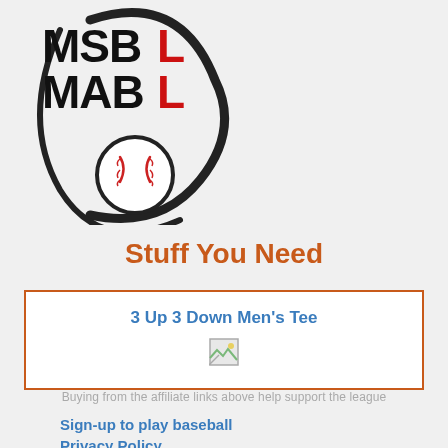[Figure (logo): MSBL MABL baseball organization logo with swoosh and baseball graphic, black and red text]
Stuff You Need
3 Up 3 Down Men's Tee
[Figure (photo): Broken/missing product image placeholder]
Buying from the affiliate links above help support the league
Sign-up to play baseball
Privacy Policy